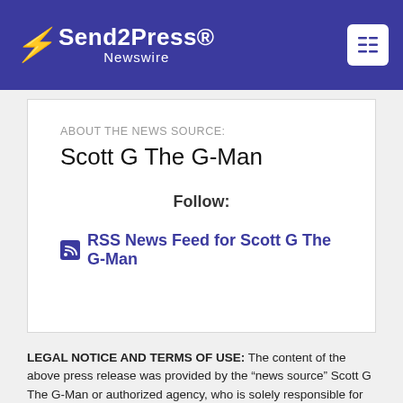Send2Press Newswire
ABOUT THE NEWS SOURCE:
Scott G The G-Man
Follow:
RSS News Feed for Scott G The G-Man
LEGAL NOTICE AND TERMS OF USE: The content of the above press release was provided by the “news source” Scott G The G-Man or authorized agency, who is solely responsible for its accuracy. Send2Press® is the originating